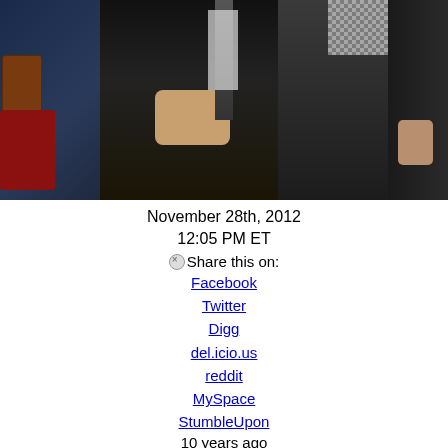[Figure (photo): Two or three men in dark suits shaking hands or standing together, partial view of bodies, one person in checkered shirt visible at right edge]
November 28th, 2012
12:05 PM ET
⊗Share this on:
Facebook
Twitter
Digg
del.icio.us
reddit
MySpace
StumbleUpon
10 years ago
Collins leaves Rice meeting with questions; says Kerry would be confirmed easily